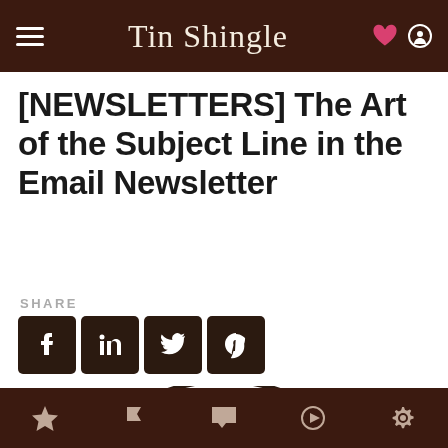Tin Shingle
[NEWSLETTERS] The Art of the Subject Line in the Email Newsletter
SHARE
[Figure (screenshot): Social share buttons for Facebook, LinkedIn, Twitter, Pinterest on dark brown square buttons]
[Figure (logo): Tin Shingle circular logo with sunburst rays and script text]
Bottom navigation bar with star, flag, chat, play, and settings icons